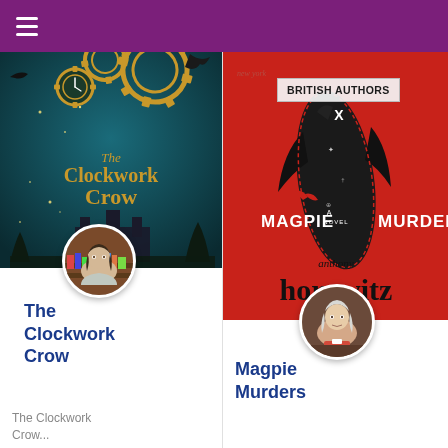☰ (menu icon)
[Figure (illustration): Book cover of 'The Clockwork Crow' — teal/dark background with golden steampunk gears, a clock, silhouette of a crow, castle, and title text in gold serif font.]
[Figure (photo): Circular avatar photo of author (woman with short dark hair in a bookshelf background).]
The Clockwork Crow
The Clockwork Crow...
[Figure (illustration): Book cover of 'Magpie Murders' — red background with large black crow/magpie silhouette, title 'MAGPIE MURDERS' in white caps, author 'anthony horowitz' in large black serif font at bottom. 'new york...' and 'BRITISH AUTHORS' tag overlaid.]
[Figure (photo): Circular avatar photo of author Anthony Horowitz (elderly man/woman with white hair).]
BRITISH AUTHORS
Magpie Murders